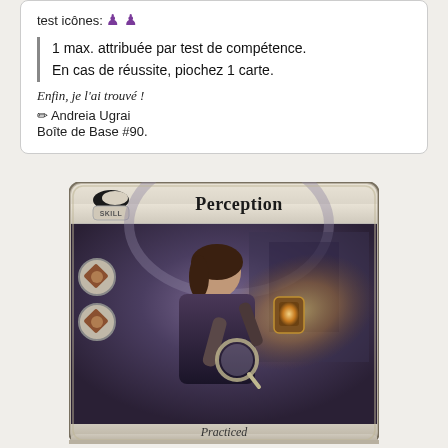test icônes: [icons]
1 max. attribuée par test de compétence.
En cas de réussite, piochez 1 carte.
Enfin, je l'ai trouvé !
✏ Andreia Ugrai
Boîte de Base #90.
[Figure (illustration): Arkham Horror card: Perception skill card. Shows a woman with a magnifying glass and a glowing lantern in a dark room. Title 'Perception', type 'SKILL', bottom text 'Practiced'. Left side has skill icons.]